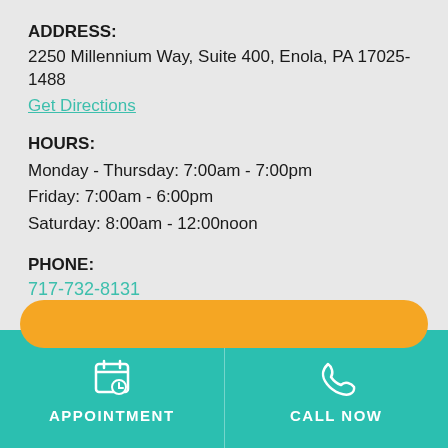ADDRESS:
2250 Millennium Way, Suite 400, Enola, PA 17025-1488
Get Directions
HOURS:
Monday - Thursday: 7:00am - 7:00pm
Friday: 7:00am - 6:00pm
Saturday: 8:00am - 12:00noon
PHONE:
717-732-8131
FAX:
717-732-8132
[Figure (infographic): Orange rounded rectangle button at bottom of content area]
[Figure (infographic): Teal footer bar with two buttons: APPOINTMENT (calendar icon) and CALL NOW (phone icon)]